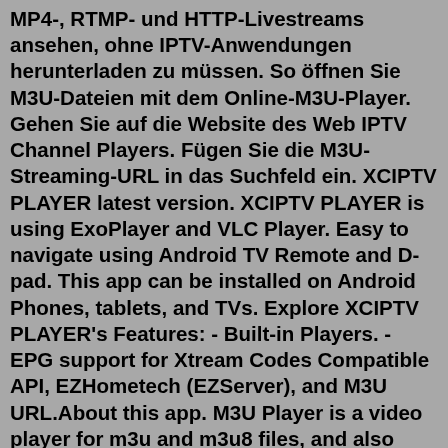MP4-, RTMP- und HTTP-Livestreams ansehen, ohne IPTV-Anwendungen herunterladen zu müssen. So öffnen Sie M3U-Dateien mit dem Online-M3U-Player. Gehen Sie auf die Website des Web IPTV Channel Players. Fügen Sie die M3U-Streaming-URL in das Suchfeld ein. XCIPTV PLAYER latest version. XCIPTV PLAYER is using ExoPlayer and VLC Player. Easy to navigate using Android TV Remote and D-pad. This app can be installed on Android Phones, tablets, and TVs. Explore XCIPTV PLAYER's Features: - Built-in Players. - EPG support for Xtream Codes Compatible API, EZHometech (EZServer), and M3U URL.About this app. M3U Player is a video player for m3u and m3u8 files, and also plays IPTV links. Watch IPTV from your Internet service provider or free live TV channels from any other source on the web. a powerful app to stream online channels and IPTV, m3u, m3u8 files. M3u iptv player with excellent image Easy to use. Search. Online Playlist Creator v 1.3. the names of channels without channel names Your text